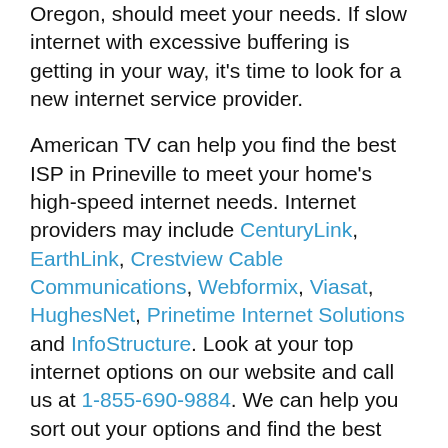Oregon, should meet your needs. If slow internet with excessive buffering is getting in your way, it's time to look for a new internet service provider.
American TV can help you find the best ISP in Prineville to meet your home's high-speed internet needs. Internet providers may include CenturyLink, EarthLink, Crestview Cable Communications, Webformix, Viasat, HughesNet, Prinetime Internet Solutions and InfoStructure. Look at your top internet options on our website and call us at 1-855-690-9884. We can help you sort out your options and find the best internet provider for you.
Before we even begin looking for a new internet provider, we will test the internet download and upload speeds at your Prineville home to see if your present internet provider is delivering what you pay for. Your speed test will also provide readings on network latency and jitter to see if you can use